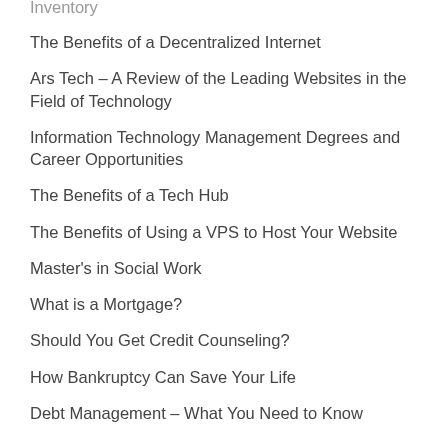Inventory
The Benefits of a Decentralized Internet
Ars Tech – A Review of the Leading Websites in the Field of Technology
Information Technology Management Degrees and Career Opportunities
The Benefits of a Tech Hub
The Benefits of Using a VPS to Host Your Website
Master's in Social Work
What is a Mortgage?
Should You Get Credit Counseling?
How Bankruptcy Can Save Your Life
Debt Management – What You Need to Know